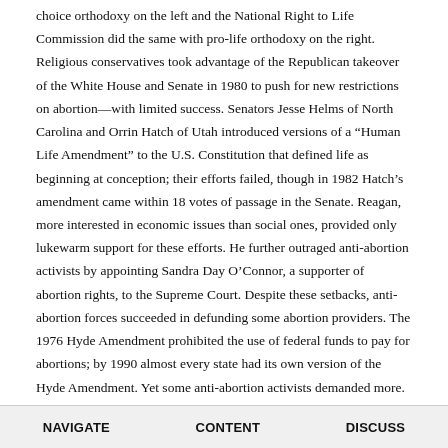choice orthodoxy on the left and the National Right to Life Commission did the same with pro-life orthodoxy on the right. Religious conservatives took advantage of the Republican takeover of the White House and Senate in 1980 to push for new restrictions on abortion—with limited success. Senators Jesse Helms of North Carolina and Orrin Hatch of Utah introduced versions of a “Human Life Amendment” to the U.S. Constitution that defined life as beginning at conception; their efforts failed, though in 1982 Hatch’s amendment came within 18 votes of passage in the Senate. Reagan, more interested in economic issues than social ones, provided only lukewarm support for these efforts. He further outraged anti-abortion activists by appointing Sandra Day O’Connor, a supporter of abortion rights, to the Supreme Court. Despite these setbacks, anti-abortion forces succeeded in defunding some abortion providers. The 1976 Hyde Amendment prohibited the use of federal funds to pay for abortions; by 1990 almost every state had its own version of the Hyde Amendment. Yet some anti-abortion activists demanded more. In 1988 evangelical activist Randall Terry founded Operation Rescue, an organization that targeted abortion clinics
NAVIGATE    CONTENT    DISCUSS